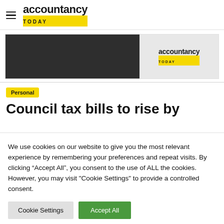accountancy TODAY
[Figure (logo): Accountancy Today banner advertisement with logo on grey/dark background]
Personal
Council tax bills to rise by
We use cookies on our website to give you the most relevant experience by remembering your preferences and repeat visits. By clicking “Accept All”, you consent to the use of ALL the cookies. However, you may visit "Cookie Settings" to provide a controlled consent.